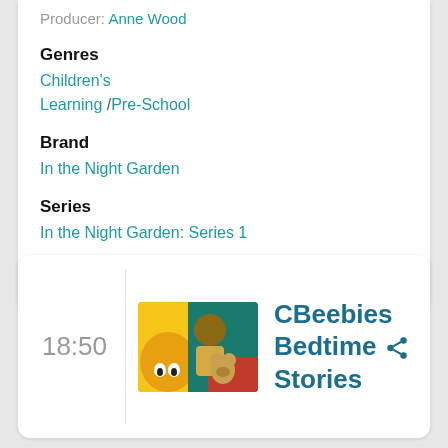Producer: Anne Wood
Genres
Children's
Learning /Pre-School
Brand
In the Night Garden
Series
In the Night Garden: Series 1
Source: BBC Online ?
18:50
[Figure (photo): Thumbnail image of a man holding a teddy bear with a colorful background]
CBeebies Bedtime Stories